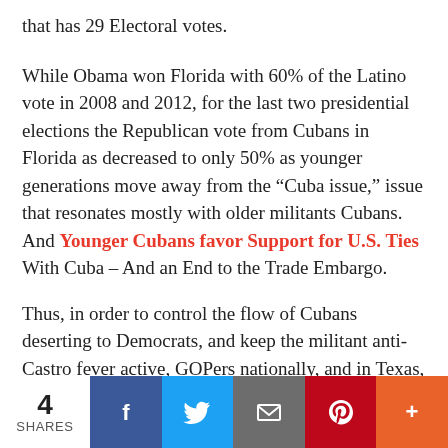that has 29 Electoral votes.
While Obama won Florida with 60% of the Latino vote in 2008 and 2012, for the last two presidential elections the Republican vote from Cubans in Florida as decreased to only 50% as younger generations move away from the “Cuba issue,” issue that resonates mostly with older militants Cubans. And Younger Cubans favor Support for U.S. Ties With Cuba – And an End to the Trade Embargo.
Thus, in order to control the flow of Cubans deserting to Democrats, and keep the militant anti-Castro fever active, GOPers nationally, and in Texas, turn a blind eye on this wave of illegal immigrants and keep the narrative of “we need to secure the border” and
4 SHARES | Facebook | Twitter | Email | Pinterest | More